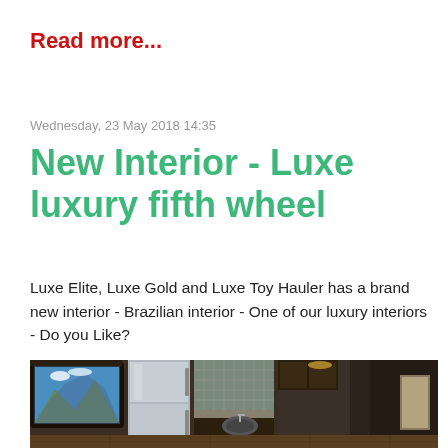Read more...
Wednesday, 23 May 2018 14:35
New Interior - Luxe luxury fifth wheel
Luxe Elite, Luxe Gold and Luxe Toy Hauler has a brand new interior - Brazilian interior - One of our luxury interiors - Do you Like?
[Figure (photo): Interior photo of a luxury fifth wheel RV showing dark wood cabinetry, stainless steel refrigerator, decorative tile backsplash, kitchen area, and a TV mounted on the left wall displaying a mountain landscape.]